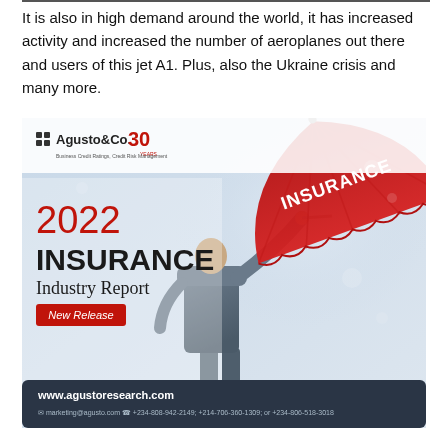It is also in high demand around the world, it has increased activity and increased the number of aeroplanes out there and users of this jet A1. Plus, also the Ukraine crisis and many more.
[Figure (illustration): Agusto&Co. 30 Years — 2022 Insurance Industry Report cover. Shows a person in a grey suit holding a large red umbrella with 'INSURANCE' written on it. Logo and contact details included. Website: www.agustoresearch.com. Tag line: New Release.]